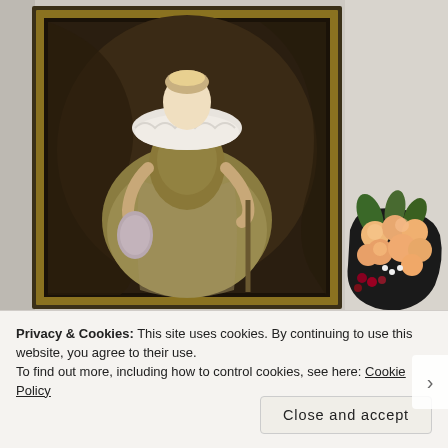[Figure (photo): A large framed oil painting of a noblewoman in elaborate 17th-century dress with ruff collar, ornate brocade gown, holding a fur muff. The painting has a dark gold ornate frame and hangs on a light beige/grey wall. To the right of the painting sits a bouquet of peach/salmon roses wrapped in dark paper with green foliage.]
Privacy & Cookies: This site uses cookies. By continuing to use this website, you agree to their use.
To find out more, including how to control cookies, see here: Cookie Policy
Close and accept